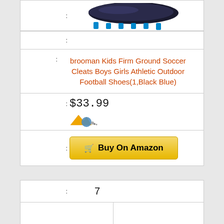[Figure (photo): Top portion of soccer cleat shoe (black/blue) visible at top of page]
:
: brooman Kids Firm Ground Soccer Cleats Boys Girls Athletic Outdoor Football Shoes(1,Black Blue)
: $33.99 [Amazon logo]
: Buy On Amazon
: 7
[Figure (photo): Silver/black athletic shoe visible at bottom right of page]